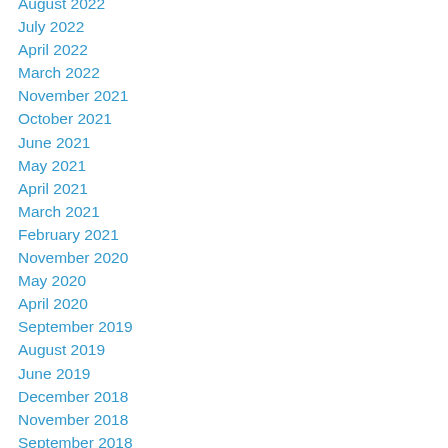August 2022
July 2022
April 2022
March 2022
November 2021
October 2021
June 2021
May 2021
April 2021
March 2021
February 2021
November 2020
May 2020
April 2020
September 2019
August 2019
June 2019
December 2018
November 2018
September 2018
August 2018